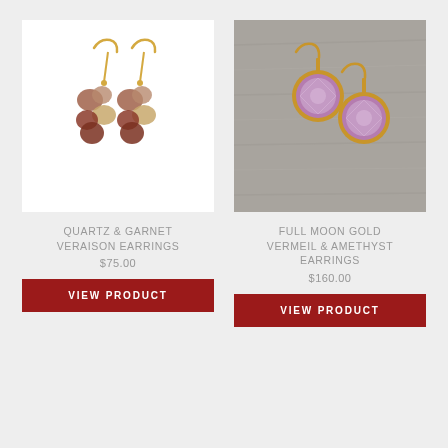[Figure (photo): Quartz and garnet cluster drop earrings on gold wire hooks, shown on white background]
QUARTZ & GARNET VERAISON EARRINGS
$75.00
VIEW PRODUCT
[Figure (photo): Full moon gold vermeil and amethyst round bezel set drop earrings on gold wire hooks, shown on gray weathered wood background]
FULL MOON GOLD VERMEIL & AMETHYST EARRINGS
$160.00
VIEW PRODUCT